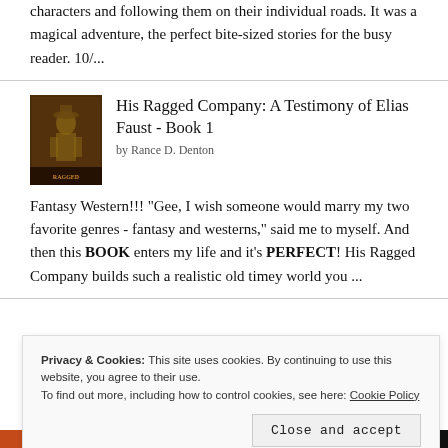characters and following them on their individual roads. It was a magical adventure, the perfect bite-sized stories for the busy reader. 10/...
His Ragged Company: A Testimony of Elias Faust - Book 1
by Rance D. Denton
Fantasy Western!!! "Gee, I wish someone would marry my two favorite genres - fantasy and westerns," said me to myself. And then this BOOK enters my life and it's PERFECT! His Ragged Company builds such a realistic old timey world you ...
Privacy & Cookies: This site uses cookies. By continuing to use this website, you agree to their use.
To find out more, including how to control cookies, see here: Cookie Policy
Close and accept